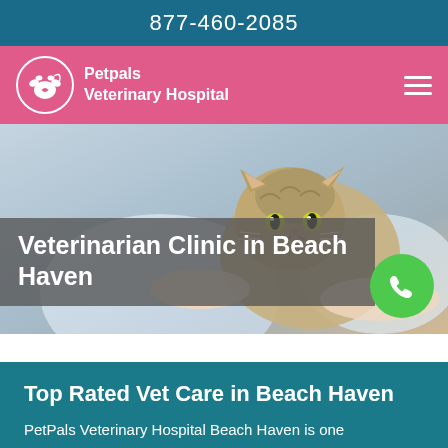877-460-2085
[Figure (logo): Petpals Veterinary Hospital logo with paw print icon on pink navigation bar]
[Figure (photo): Hero image of a kitten being held by a veterinarian in white coat, with overlaid title text and green phone button]
Veterinarian Clinic in Beach Haven
Top Rated Vet Care in Beach Haven
PetPals Veterinary Hospital Beach Haven is one